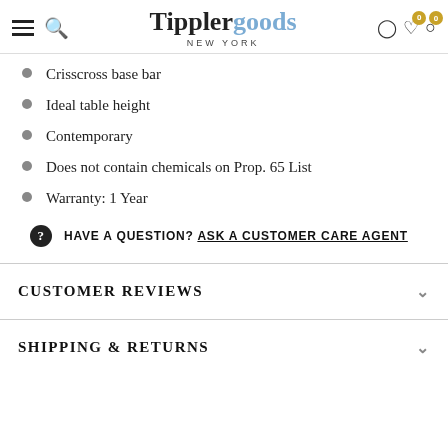Tippler goods NEW YORK
Crisscross base bar
Ideal table height
Contemporary
Does not contain chemicals on Prop. 65 List
Warranty: 1 Year
HAVE A QUESTION? ASK A CUSTOMER CARE AGENT
CUSTOMER REVIEWS
SHIPPING & RETURNS